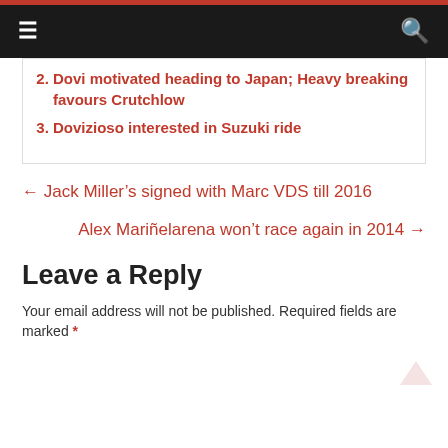≡  🔍
2. Dovi motivated heading to Japan; Heavy breaking favours Crutchlow
3. Dovizioso interested in Suzuki ride
← Jack Miller's signed with Marc VDS till 2016
Alex Mariñelarena won't race again in 2014 →
Leave a Reply
Your email address will not be published. Required fields are marked *